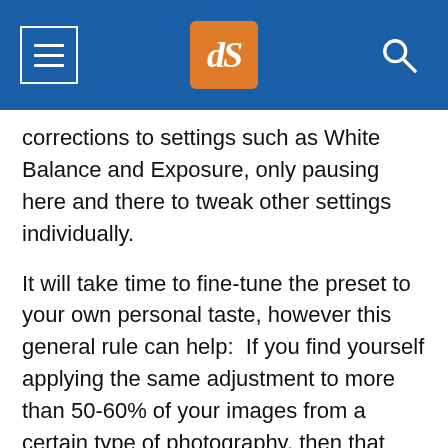[Figure (screenshot): Navigation bar with hamburger menu icon on the left, dPS logo in orange in the center, and search icon on the right, on a blue background]
corrections to settings such as White Balance and Exposure, only pausing here and there to tweak other settings individually.
It will take time to fine-tune the preset to your own personal taste, however this general rule can help:  If you find yourself applying the same adjustment to more than 50-60% of your images from a certain type of photography, then that adjustment should be put into a preset!  It's better to perform slight changes on 20-30% of